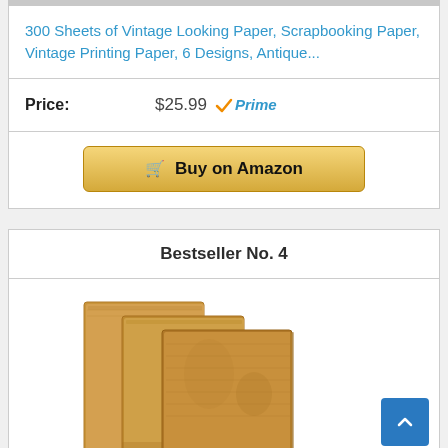300 Sheets of Vintage Looking Paper, Scrapbooking Paper, Vintage Printing Paper, 6 Designs, Antique...
Price: $25.99 Prime
Buy on Amazon
Bestseller No. 4
[Figure (photo): Stack of antique/vintage parchment paper sheets, shown as three offset stacks of tan/brown aged paper]